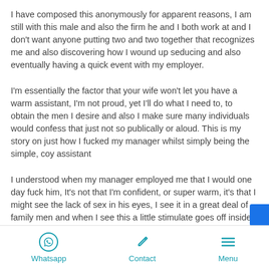I have composed this anonymously for apparent reasons, I am still with this male and also the firm he and I both work at and I don't want anyone putting two and two together that recognizes me and also discovering how I wound up seducing and also eventually having a quick event with my employer.
I'm essentially the factor that your wife won't let you have a warm assistant, I'm not proud, yet I'll do what I need to, to obtain the men I desire and also I make sure many individuals would confess that just not so publically or aloud. This is my story on just how I fucked my manager whilst simply being the simple, coy assistant
I understood when my manager employed me that I would one day fuck him, It's not that I'm confident, or super warm, it's that I might see the lack of sex in his eyes, I see it in a great deal of family men and when I see this a little stimulate goes off inside of me as I understand I can obtain them with just a click of my fingers if I desire to.
Whatsapp   Contact   Menu